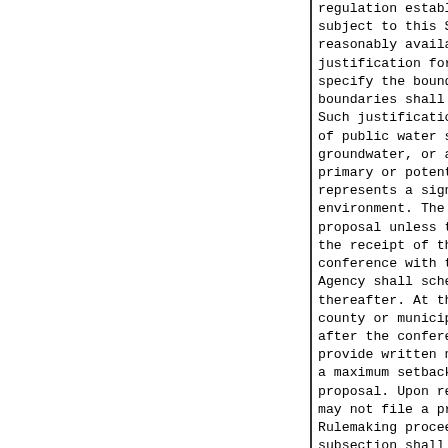regulation establishing a maximum subject to this Section. Such pr reasonably available hydrogeolo justification for expanding the z specify the boundaries of such boundaries shall be in excess of Such justification may include th of public water supply or a groundwater, or an Agency finding primary or potential secondary represents a significant hazard environment. The Agency may proc proposal unless the county or m the receipt of the written notice conference with the Agency. Upon Agency shall schedule a confere thereafter. At the conference, county or municipality regarding after the conference, the affecte provide written notice to the Ag a maximum setback zone in lie proposal. Upon receipt of such a may not file a proposal with the Rulemaking proceedings initiate subsection shall be conducted by of this Act, except that subsect apply. Nothing in this Section shal general authority of the Boar pursuant to Title VII of this A shall limit the right of any mu